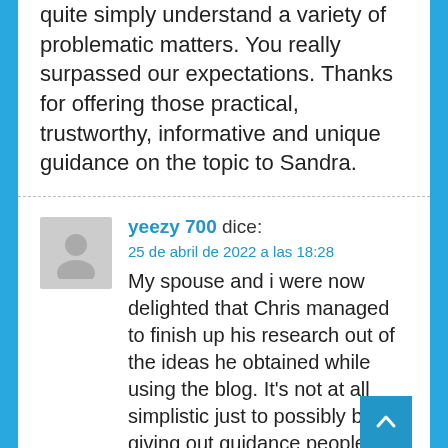quite simply understand a variety of problematic matters. You really surpassed our expectations. Thanks for offering those practical, trustworthy, informative and unique guidance on the topic to Sandra.
yeezy 700 dice:
25 de abril de 2022 a las 18:28
My spouse and i were now delighted that Chris managed to finish up his research out of the ideas he obtained while using the blog. It's not at all simplistic just to possibly be giving out guidance people today have been trying to sell. So we remember we have you to be grateful to for that. The specific explanations you've made, the